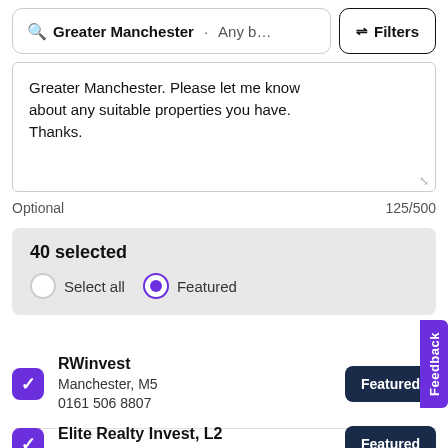Greater Manchester · Any b… Filters
Greater Manchester. Please let me know about any suitable properties you have. Thanks.
Optional 125/500
40 selected
Select all Featured
RWinvest Manchester, M5 0161 506 8807 Featured
Elite Realty Invest, L2 0151 382 9270 Featured